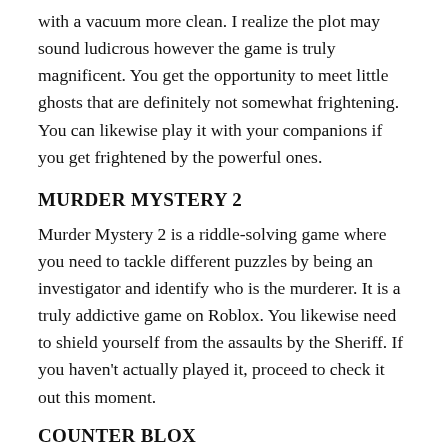with a vacuum more clean. I realize the plot may sound ludicrous however the game is truly magnificent. You get the opportunity to meet little ghosts that are definitely not somewhat frightening. You can likewise play it with your companions if you get frightened by the powerful ones.
MURDER MYSTERY 2
Murder Mystery 2 is a riddle-solving game where you need to tackle different puzzles by being an investigator and identify who is the murderer. It is a truly addictive game on Roblox. You likewise need to shield yourself from the assaults by the Sheriff. If you haven't actually played it, proceed to check it out this moment.
COUNTER BLOX